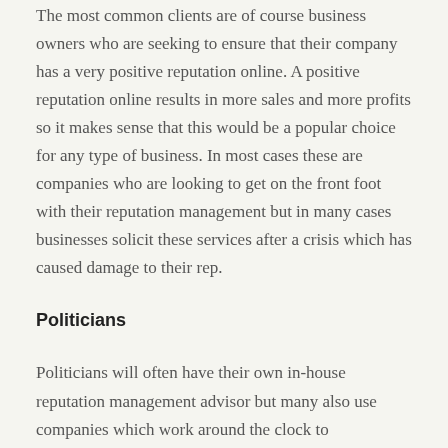The most common clients are of course business owners who are seeking to ensure that their company has a very positive reputation online. A positive reputation online results in more sales and more profits so it makes sense that this would be a popular choice for any type of business. In most cases these are companies who are looking to get on the front foot with their reputation management but in many cases businesses solicit these services after a crisis which has caused damage to their rep.
Politicians
Politicians will often have their own in-house reputation management advisor but many also use companies which work around the clock to